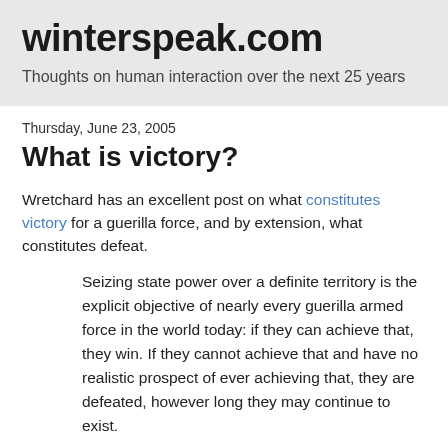winterspeak.com
Thoughts on human interaction over the next 25 years
Thursday, June 23, 2005
What is victory?
Wretchard has an excellent post on what constitutes victory for a guerilla force, and by extension, what constitutes defeat.
Seizing state power over a definite territory is the explicit objective of nearly every guerilla armed force in the world today: if they can achieve that, they win. If they cannot achieve that and have no realistic prospect of ever achieving that, they are defeated, however long they may continue to exist.